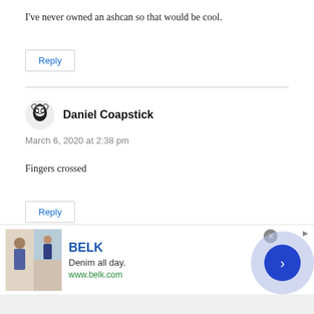I've never owned an ashcan so that would be cool.
Reply
Daniel Coapstick
March 6, 2020 at 2:38 pm
Fingers crossed
Reply
[Figure (infographic): Advertisement for BELK showing 'Denim all day.' with www.belk.com and a fashion image]